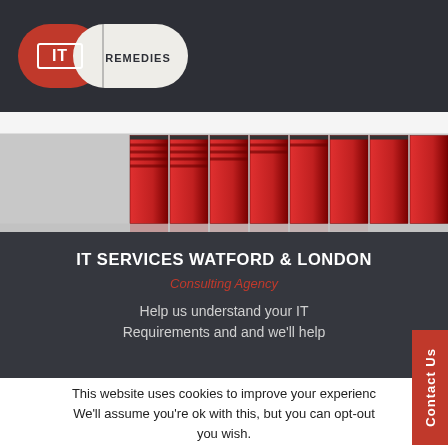IT REMEDIES logo
[Figure (illustration): Red server racks in a row, viewed in perspective, with a light grey floor reflection]
IT SERVICES WATFORD & LONDON
Consulting Agency
Help us understand your IT Requirements and and we'll help
This website uses cookies to improve your experience. We'll assume you're ok with this, but you can opt-out you wish.
Accept  Reject